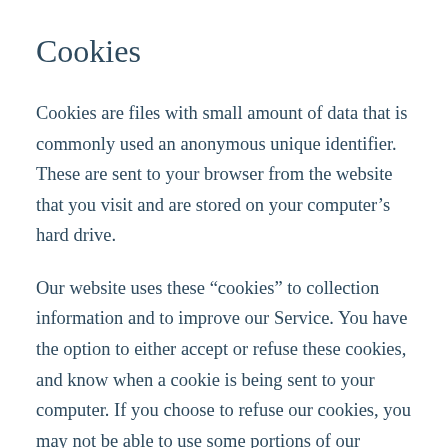Cookies
Cookies are files with small amount of data that is commonly used an anonymous unique identifier. These are sent to your browser from the website that you visit and are stored on your computer’s hard drive.
Our website uses these “cookies” to collection information and to improve our Service. You have the option to either accept or refuse these cookies, and know when a cookie is being sent to your computer. If you choose to refuse our cookies, you may not be able to use some portions of our